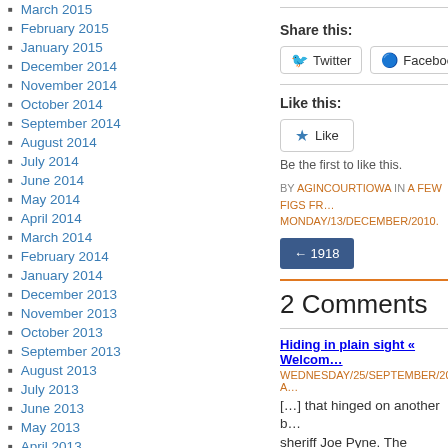March 2015
February 2015
January 2015
December 2014
November 2014
October 2014
September 2014
August 2014
July 2014
June 2014
May 2014
April 2014
March 2014
February 2014
January 2014
December 2013
November 2013
October 2013
September 2013
August 2013
July 2013
June 2013
May 2013
April 2013
Share this:
Twitter  Facebook
Like this:
Like
Be the first to like this.
BY AGINCOURTIOWA IN A FEW FIGS FR... MONDAY/13/DECEMBER/2010.
← 1918
2 Comments
Hiding in plain sight « Welcome...
WEDNESDAY/25/SEPTEMBER/2013 A...
[...] that hinged on another b... sheriff Joe Pyne. The Rufini...